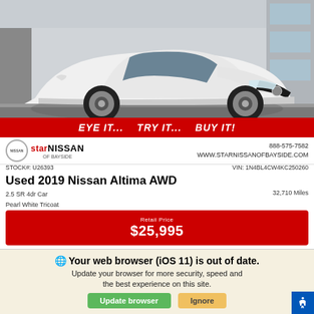[Figure (photo): White 2019 Nissan Altima AWD sedan photographed from the front-right angle in a parking lot]
EYE IT... TRY IT... BUY IT!
Star Nissan of Bayside | 888-575-7582 | WWW.STARNISSANOFBAYSIDE.COM
STOCK#: U26393
VIN: 1N4BL4CW4KC250260
Used 2019 Nissan Altima AWD
2.5 SR 4dr Car
Pearl White Tricoat
Sport Interior
32,710 Miles
Retail Price
$25,995
Your web browser (iOS 11) is out of date.
Update your browser for more security, speed and the best experience on this site.